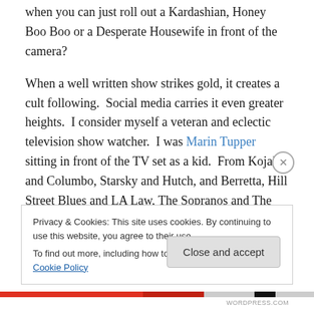when you can just roll out a Kardashian, Honey Boo Boo or a Desperate Housewife in front of the camera?
When a well written show strikes gold, it creates a cult following.  Social media carries it even greater heights.  I consider myself a veteran and eclectic television show watcher.  I was Marin Tupper sitting in front of the TV set as a kid.  From Kojak and Columbo, Starsky and Hutch, and Berretta, Hill Street Blues and LA Law, The Sopranos and The Wire, The West Wing and Breaking Bad, I know good, and imaginative story telling when I see it.  The bar
Privacy & Cookies: This site uses cookies. By continuing to use this website, you agree to their use.
To find out more, including how to control cookies, see here: Cookie Policy
Close and accept